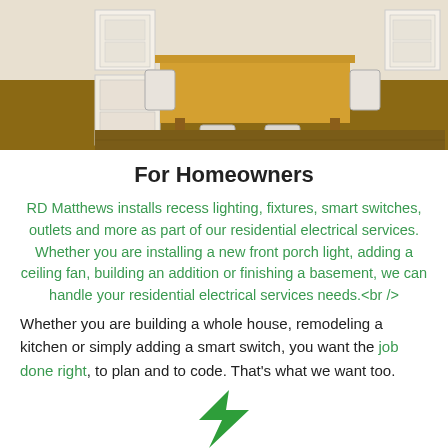[Figure (photo): Kitchen interior with wooden dining table, upholstered white chairs, white cabinetry, and hardwood floors]
For Homeowners
RD Matthews installs recess lighting, fixtures, smart switches, outlets and more as part of our residential electrical services. Whether you are installing a new front porch light, adding a ceiling fan, building an addition or finishing a basement, we can handle your residential electrical services needs.<br />
Whether you are building a whole house, remodeling a kitchen or simply adding a smart switch, you want the job done right, to plan and to code. That's what we want too.
[Figure (logo): Green lightning bolt logo]